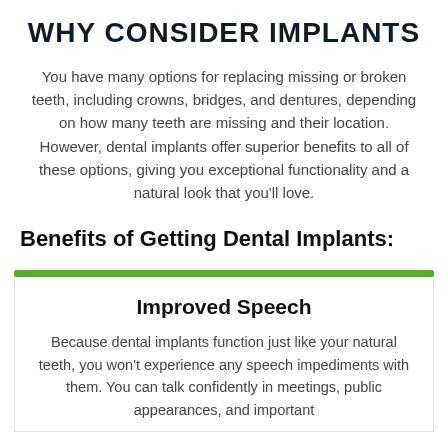WHY CONSIDER IMPLANTS
You have many options for replacing missing or broken teeth, including crowns, bridges, and dentures, depending on how many teeth are missing and their location. However, dental implants offer superior benefits to all of these options, giving you exceptional functionality and a natural look that you'll love.
Benefits of Getting Dental Implants:
Improved Speech
Because dental implants function just like your natural teeth, you won't experience any speech impediments with them. You can talk confidently in meetings, public appearances, and important